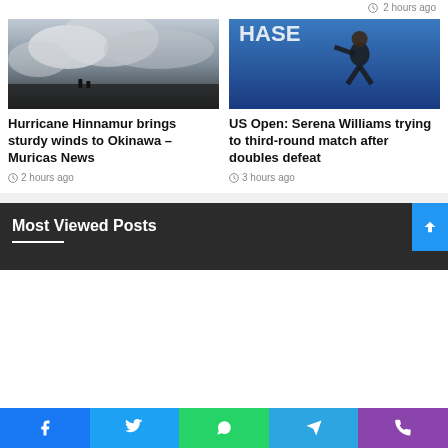2 hours ago
[Figure (photo): Storm clouds and rough waves, Hurricane Hinnamur]
Hurricane Hinnamur brings sturdy winds to Okinawa – Muricas News
2 hours ago
[Figure (photo): Serena Williams playing tennis at US Open, Chase arena banner in background]
US Open: Serena Williams trying to third-round match after doubles defeat
3 hours ago
Most Viewed Posts